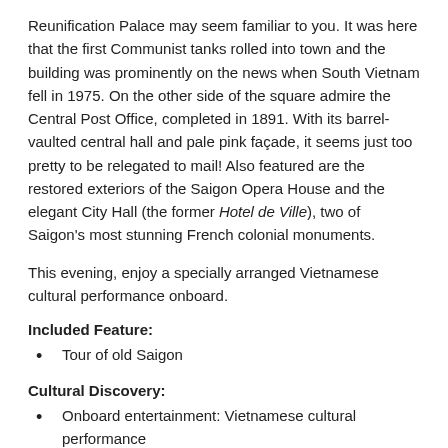Reunification Palace may seem familiar to you. It was here that the first Communist tanks rolled into town and the building was prominently on the news when South Vietnam fell in 1975. On the other side of the square admire the Central Post Office, completed in 1891. With its barrel-vaulted central hall and pale pink façade, it seems just too pretty to be relegated to mail! Also featured are the restored exteriors of the Saigon Opera House and the elegant City Hall (the former Hotel de Ville), two of Saigon's most stunning French colonial monuments.
This evening, enjoy a specially arranged Vietnamese cultural performance onboard.
Included Feature:
Tour of old Saigon
Cultural Discovery:
Onboard entertainment: Vietnamese cultural performance